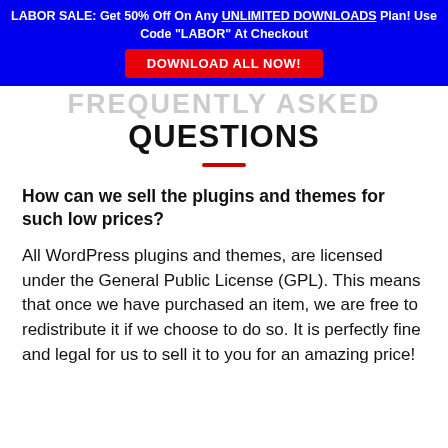LABOR SALE: Get 50% Off On Any UNLIMITED DOWNLOADS Plan! Use Code "LABOR" At Checkout
DOWNLOAD ALL NOW!
FREQUENTLY ASKED QUESTIONS
How can we sell the plugins and themes for such low prices?
All WordPress plugins and themes, are licensed under the General Public License (GPL). This means that once we have purchased an item, we are free to redistribute it if we choose to do so. It is perfectly fine and legal for us to sell it to you for an amazing price!